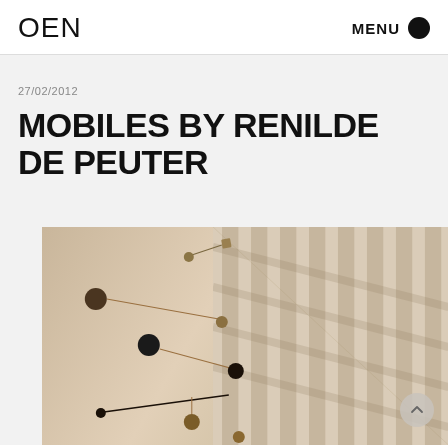OEN   MENU
27/02/2012
MOBILES BY RENILDE DE PEUTER
[Figure (photo): A kinetic mobile sculpture with small dark brown and olive colored spheres and rectangular pieces connected by thin wire rods, photographed against a beige/cream wall with diagonal window light shadow stripes on the right side.]